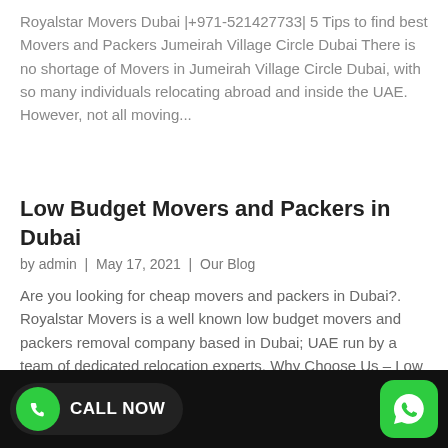Royalstar Movers Dubai |+971-521427733| 5 Tips to find best Movers and Packers Jumeirah Village Circle Dubai There is no shortage of Movers in Jumeirah Village Circle Dubai, with so many individuals relocating abroad and inside the UAE. However, not all moving...
Low Budget Movers and Packers in Dubai
by admin | May 17, 2021 | Our Blog
Are you looking for cheap movers and packers in Dubai?. Royalstar Movers is a well known low budget movers and packers removal company based in Dubai; UAE run by a team of dedicated relocation experts. Why Choose Us – Low Budget Movers and Packers in Dubai?...
[Figure (infographic): Bottom bar with green CALL NOW button with phone icon on left and green WhatsApp button on right, with colorful image strip in between.]